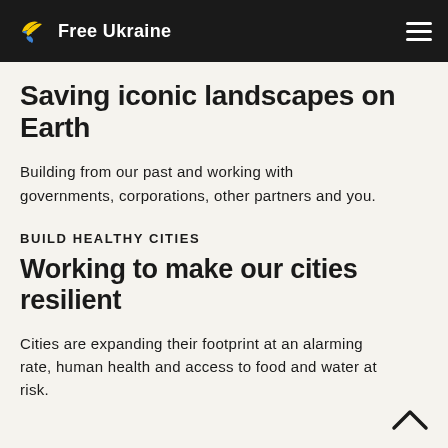Free Ukraine
Saving iconic landscapes on Earth
Building from our past and working with governments, corporations, other partners and you.
BUILD HEALTHY CITIES
Working to make our cities resilient
Cities are expanding their footprint at an alarming rate, human health and access to food and water at risk.